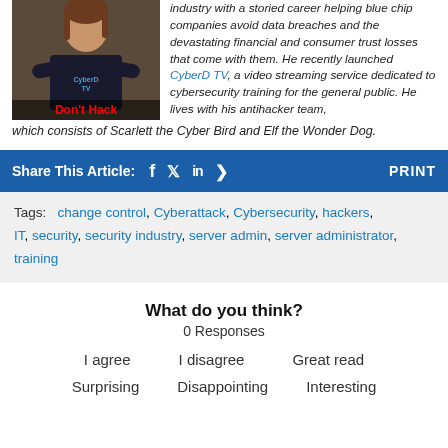[Figure (photo): Person with arms crossed wearing a CyberD TV shirt, with red 'Don't Hack' text overlay at bottom]
industry with a storied career helping blue chip companies avoid data breaches and the devastating financial and consumer trust losses that come with them. He recently launched CyberD TV, a video streaming service dedicated to cybersecurity training for the general public. He lives with his antihacker team, which consists of Scarlett the Cyber Bird and Elf the Wonder Dog.
Share This Article:  PRINT
Tags: change control, Cyberattack, Cybersecurity, hackers, IT, security, security industry, server admin, server administrator, training
What do you think?
0 Responses
I agree   I disagree   Great read
Surprising   Disappointing   Interesting